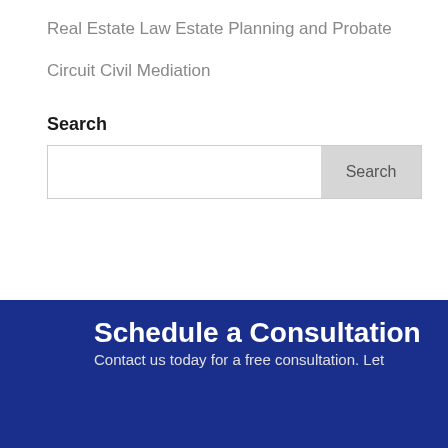Real Estate Law
Estate Planning and Probate
Circuit Civil Mediation
Search
Schedule a Consultation
Contact us today for a free consultation. Let